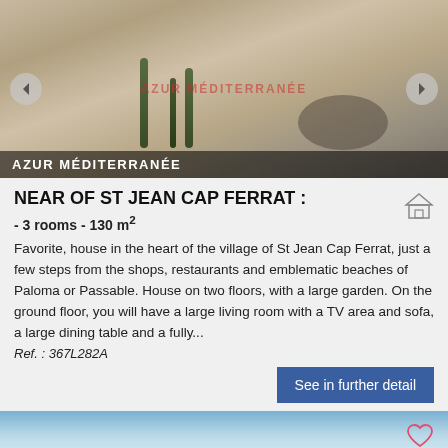[Figure (photo): Outdoor terrace with wicker chairs and table, garden with tall plants and yellow flowers, building in background. Watermark: AZUR MÉDITERRANÉE. Navigation arrows on left and right. Label overlay at bottom: AZUR MÉDITERRANÉE]
NEAR OF ST JEAN CAP FERRAT :
- 3 rooms - 130 m²
Favorite, house in the heart of the village of St Jean Cap Ferrat, just a few steps from the shops, restaurants and emblematic beaches of Paloma or Passable. House on two floors, with a large garden. On the ground floor, you will have a large living room with a TV area and sofa, a large dining table and a fully...
Ref. : 367L282A
See in further detail
[Figure (photo): Partial view of a second property listing photo showing sky and landscape]